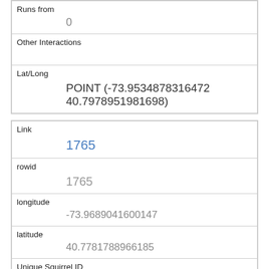| Runs from | 0 |
| Other Interactions |  |
| Lat/Long | POINT (-73.9534878316472 40.7978951981698) |
| Link | 1765 |
| rowid | 1765 |
| longitude | -73.9689041600147 |
| latitude | 40.7781788966185 |
| Unique Squirrel ID | 16E-AM-1014-07 |
| Hectare | 16E |
| Shift |  |